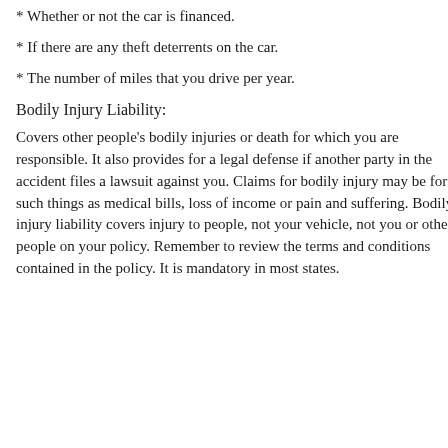* Whether or not the car is financed.
* If there are any theft deterrents on the car.
* The number of miles that you drive per year.
Bodily Injury Liability:
Covers other people's bodily injuries or death for which you are responsible. It also provides for a legal defense if another party in the accident files a lawsuit against you. Claims for bodily injury may be for such things as medical bills, loss of income or pain and suffering. Bodily injury liability covers injury to people, not your vehicle, not you or other people on your policy. Remember to review the terms and conditions contained in the policy. It is mandatory in most states.